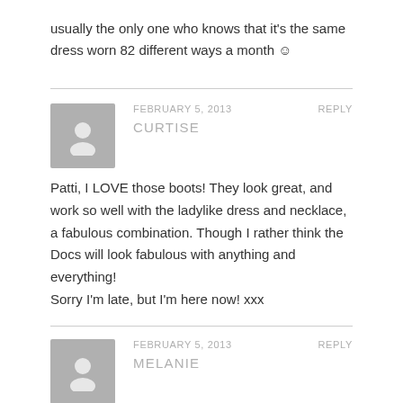usually the only one who knows that it's the same dress worn 82 different ways a month ☺
FEBRUARY 5, 2013
CURTISE
REPLY
Patti, I LOVE those boots! They look great, and work so well with the ladylike dress and necklace, a fabulous combination. Though I rather think the Docs will look fabulous with anything and everything!
Sorry I'm late, but I'm here now! xxx
FEBRUARY 5, 2013
MELANIE
REPLY